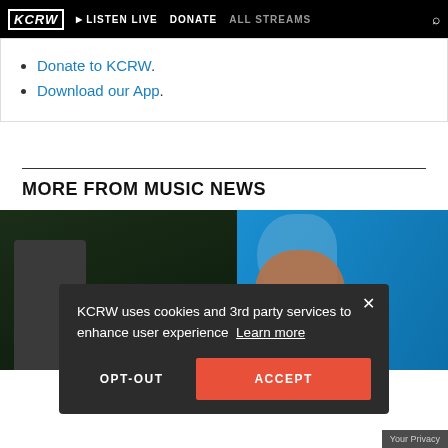KCRW | LISTEN LIVE | DONATE | ALL STREAMS
Donate to KCRW.
Download our App.
MORE FROM MUSIC NEWS
[Figure (screenshot): Two photos side by side: left shows a person against dark background, right shows a person with flowing hair against bright blue background.]
KCRW uses cookies and 3rd party services to enhance user experience Learn more
OPT-OUT
ACCEPT
Your Privacy